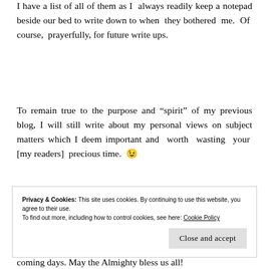I have a list of all of them as I always readily keep a notepad beside our bed to write down to when they bothered me. Of course, prayerfully, for future write ups.
To remain true to the purpose and “spirit” of my previous blog, I will still write about my personal views on subject matters which I deem important and worth wasting your [my readers] precious time. 😉
Privacy & Cookies: This site uses cookies. By continuing to use this website, you agree to their use.
To find out more, including how to control cookies, see here: Cookie Policy
Close and accept
coming days. May the Almighty bless us all!